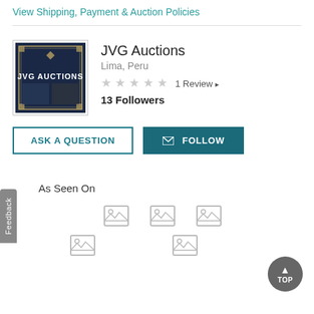View Shipping, Payment & Auction Policies
[Figure (logo): JVG Auctions logo - dark blue background with decorative border and text 'JVG AUCTIONS']
JVG Auctions
Lima, Peru
1 Review
13 Followers
ASK A QUESTION
FOLLOW
Feedback
As Seen On
[Figure (photo): Image placeholder icon 1]
[Figure (photo): Image placeholder icon 2]
[Figure (photo): Image placeholder icon 3]
[Figure (photo): Image placeholder icon 4]
[Figure (photo): Image placeholder icon 5]